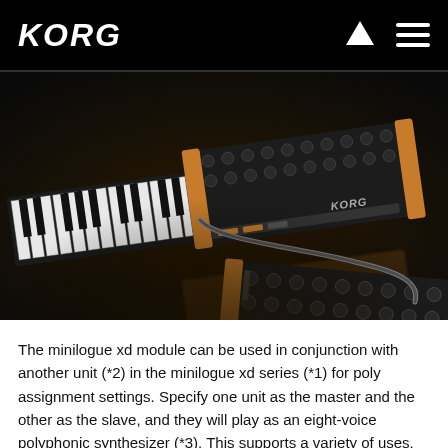KORG
[Figure (photo): Two Korg minilogue xd synthesizers (one with keyboard, one module) connected with a cable, photographed on a dark background with wood-panel accents and Korg branding, showing a master-slave setup for eight-voice polyphonic operation.]
The minilogue xd module can be used in conjunction with another unit (*2) in the minilogue xd series (*1) for poly assignment settings. Specify one unit as the master and the other as the slave, and they will play as an eight-voice polyphonic synthesizer (*3). This supports a variety of uses, such as a voice-expansion module for the minilogue xd or as a